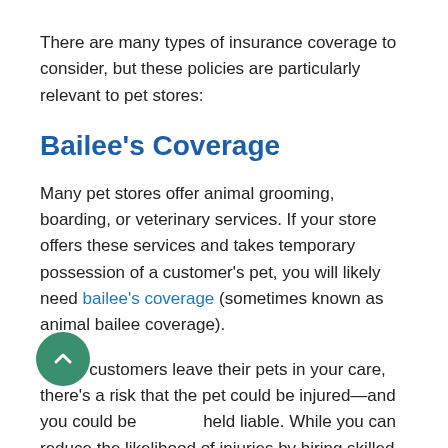There are many types of insurance coverage to consider, but these policies are particularly relevant to pet stores:
Bailee's Coverage
Many pet stores offer animal grooming, boarding, or veterinary services. If your store offers these services and takes temporary possession of a customer's pet, you will likely need bailee's coverage (sometimes known as animal bailee coverage).
When customers leave their pets in your care, there's a risk that the pet could be injured—and you could be held liable. While you can reduce the likelihood of injuries by hiring skilled staff and adhering to strict safety guidelines, accidents are always a possibility. If